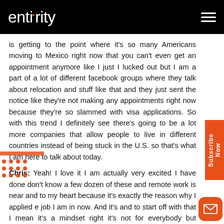entigrity
is getting to the point where it's so many Americans moving to Mexico right now that you can't even get an appointment anymore like I just I lucked out but I am a part of a lot of different facebook groups where they talk about relocation and stuff like that and they just sent the notice like they're not making any appointments right now because they're so slammed with visa applications. So with this trend I definitely see there's going to be a lot more companies that allow people to live in different countries instead of being stuck in the U.S. so that's what I am here to talk about today.
Chris: Yeah! I love it I am actually very excited I have done don't know a few dozen of these and remote work is near and to my heart because it's exactly the reason why I applied e job I am in now. And it's and to start off with that I mean it's a mindset right it's not for everybody but remote work is nothing new, I mean once the internet started remote work started we're talking a few decades ago. So why do you think the accounting industry it deems it as like this new concept new idea.